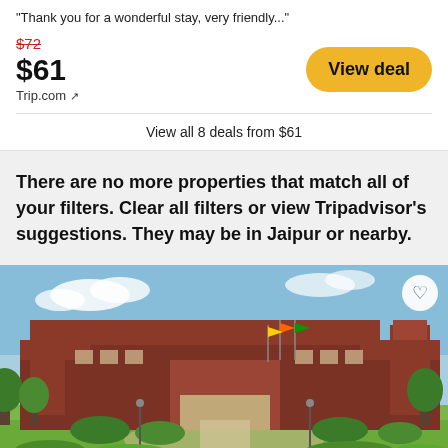"Thank you for a wonderful stay, very friendly..."
$72 (strikethrough original price)
$61
Trip.com ↗
View deal
View all 8 deals from $61
There are no more properties that match all of your filters. Clear all filters or view Tripadvisor's suggestions. They may be in Jaipur or nearby.
[Figure (photo): Exterior photo of a large red-brick hotel building with green landscaping, trees, and a circular driveway in Jaipur, India. Blue sky visible in background.]